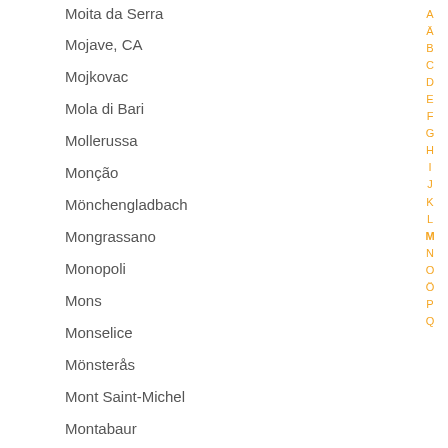Moita da Serra
Mojave, CA
Mojkovac
Mola di Bari
Mollerussa
Monção
Mönchengladbach
Mongrassano
Monopoli
Mons
Monselice
Mönsterås
Mont Saint-Michel
Montabaur
Montallegro
Montalto